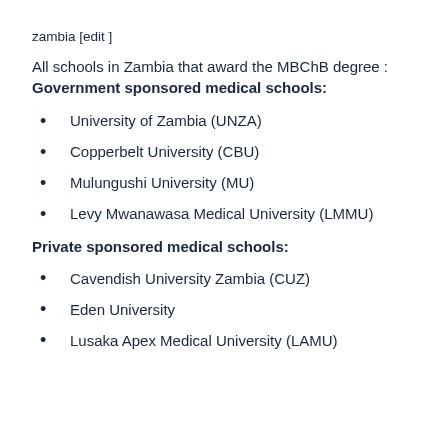zambia [edit ]
All schools in Zambia that award the MBChB degree : Government sponsored medical schools:
University of Zambia (UNZA)
Copperbelt University (CBU)
Mulungushi University (MU)
Levy Mwanawasa Medical University (LMMU)
Private sponsored medical schools:
Cavendish University Zambia (CUZ)
Eden University
Lusaka Apex Medical University (LAMU)